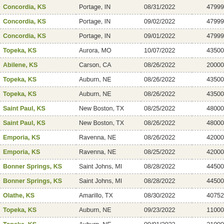| Origin | Destination | Date | Number | Type |
| --- | --- | --- | --- | --- |
| Concordia, KS | Portage, IN | 08/31/2022 | 47999 | ste |
| Concordia, KS | Portage, IN | 09/02/2022 | 47999 | ste |
| Concordia, KS | Portage, IN | 09/01/2022 | 47999 | ste |
| Topeka, KS | Aurora, MO | 10/07/2022 | 43500 | va |
| Abilene, KS | Carson, CA | 08/26/2022 | 20000 | re |
| Topeka, KS | Auburn, NE | 08/26/2022 | 43500 | va |
| Topeka, KS | Auburn, NE | 08/26/2022 | 43500 | va |
| Saint Paul, KS | New Boston, TX | 08/25/2022 | 48000 | fla |
| Saint Paul, KS | New Boston, TX | 08/26/2022 | 48000 | fla |
| Emporia, KS | Ravenna, NE | 08/26/2022 | 42000 | re |
| Emporia, KS | Ravenna, NE | 08/25/2022 | 42000 | re |
| Bonner Springs, KS | Saint Johns, MI | 08/28/2022 | 44500 | re |
| Bonner Springs, KS | Saint Johns, MI | 08/28/2022 | 44500 | re |
| Olathe, KS | Amarillo, TX | 08/30/2022 | 40752 | re |
| Topeka, KS | Auburn, NE | 09/23/2022 | 11000 | va |
| Topeka, KS | Auburn, NE | 09/01/2022 | 21000 | va |